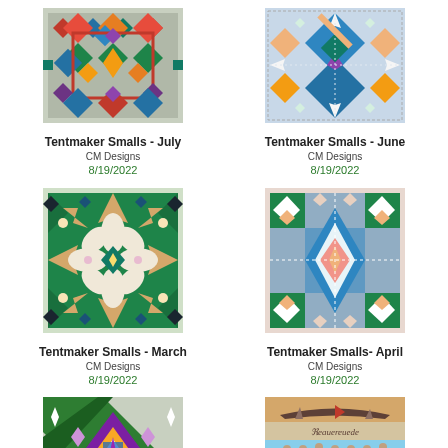[Figure (illustration): Tentmaker Smalls - July needlepoint canvas with colorful geometric quilt-like pattern in red, blue, green, gold]
Tentmaker Smalls - July
CM Designs
8/19/2022
[Figure (illustration): Tentmaker Smalls - June needlepoint canvas with geometric diamond pattern in blue, teal, gold, purple]
Tentmaker Smalls - June
CM Designs
8/19/2022
[Figure (illustration): Tentmaker Smalls - March needlepoint canvas with star/floral geometric pattern in green, tan, pink]
Tentmaker Smalls - March
CM Designs
8/19/2022
[Figure (illustration): Tentmaker Smalls - April needlepoint canvas with geometric pattern in pink, teal, green, gold]
Tentmaker Smalls- April
CM Designs
8/19/2022
[Figure (illustration): Needlepoint canvas with geometric diamond/cross pattern in purple, green, blue, gold]
[Figure (illustration): Norse themed needlepoint canvas with Viking ship and figures, text NORNE at bottom]